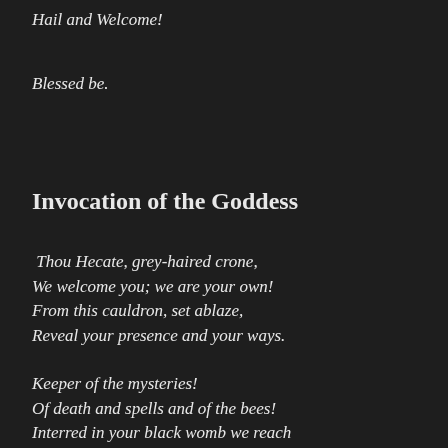Hail and Welcome!
Blessed be.
Invocation of the Goddess
Thou Hecate, grey-haired crone,
We welcome you; we are your own!
From this cauldron, set ablaze,
Reveal your presence and your ways.
Keeper of the mysteries!
Of death and spells and of the bees!
Interred in your black womb we reach